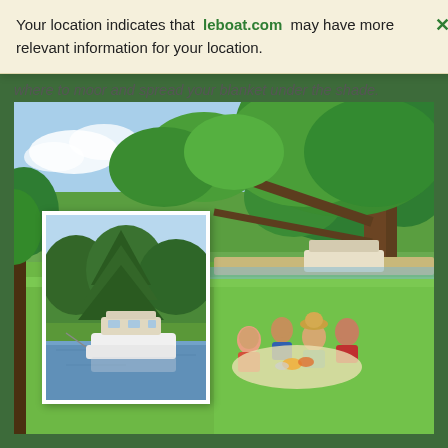Your location indicates that leboat.com may have more relevant information for your location.
where to moor and spread your blanket under the shade.
[Figure (photo): Main photo of a family picnicking on green grass under a large tree by a canal, with a Le Boat houseboat visible in the background.]
[Figure (photo): Inset smaller photo of a white motorboat/houseboat moored near the bank of a river or canal, surrounded by trees.]